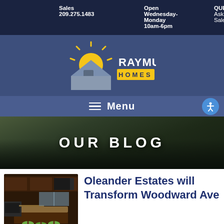Sales 209.275.1483 | Open Wednesday-Monday 10am-6pm | QUESTIONS? Ask Our Sales Team
[Figure (logo): Raymus Homes logo: sun rising over a house roof with 'RAYMUS HOMES' text]
Menu
OUR BLOG
[Figure (photo): Kitchen interior photo with dark wood cabinets and island with bar stools]
Oleander Estates will Transform Woodward Ave